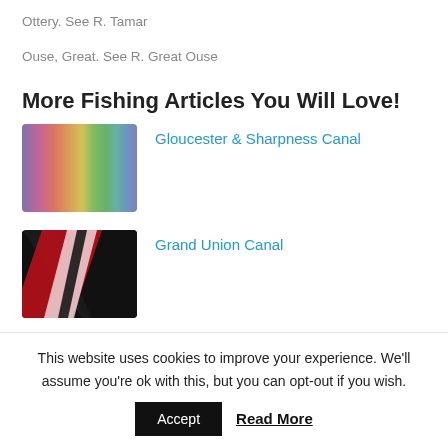Ottery. See R. Tamar
Ouse, Great. See R. Great Ouse
More Fishing Articles You Will Love!
[Figure (photo): Blurred colorful abstract image used as thumbnail for Gloucester & Sharpness Canal article]
Gloucester & Sharpness Canal
[Figure (photo): Dark image with red diagonal stripe used as thumbnail for Grand Union Canal article]
Grand Union Canal
This website uses cookies to improve your experience. We'll assume you're ok with this, but you can opt-out if you wish.
Accept
Read More